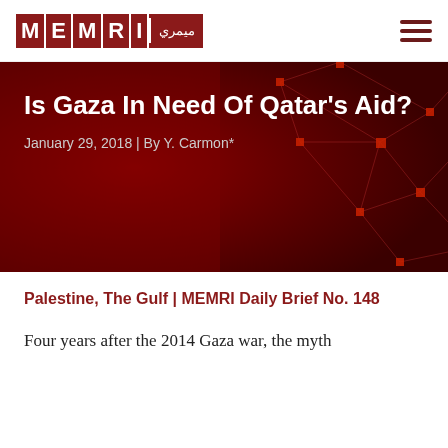MEMRI
Is Gaza In Need Of Qatar's Aid?
January 29, 2018 | By Y. Carmon*
Palestine, The Gulf | MEMRI Daily Brief No. 148
Four years after the 2014 Gaza war, the myth